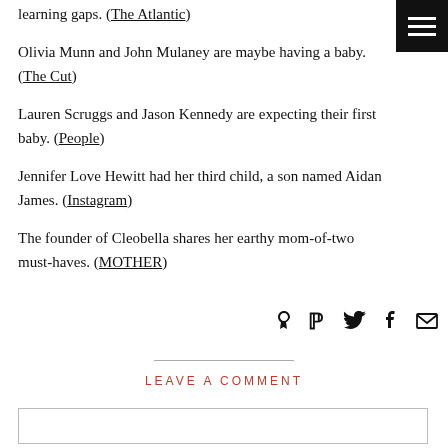learning gaps. (The Atlantic)
Olivia Munn and John Mulaney are maybe having a baby. (The Cut)
Lauren Scruggs and Jason Kennedy are expecting their first baby. (People)
Jennifer Love Hewitt had her third child, a son named Aidan James. (Instagram)
The founder of Cleobella shares her earthy mom-of-two must-haves. (MOTHER)
[Figure (illustration): Hamburger menu icon — three horizontal white lines on a black square background, top-right corner]
[Figure (illustration): Social sharing icons: Pinterest (P), Twitter (bird), Facebook (f), Email (envelope)]
LEAVE A COMMENT